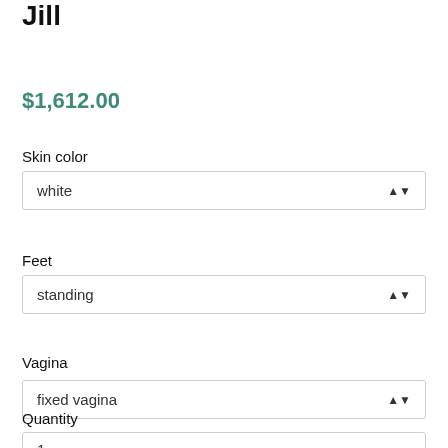Jill
$1,612.00
Skin color
white
Feet
standing
Vagina
fixed vagina
Quantity
1